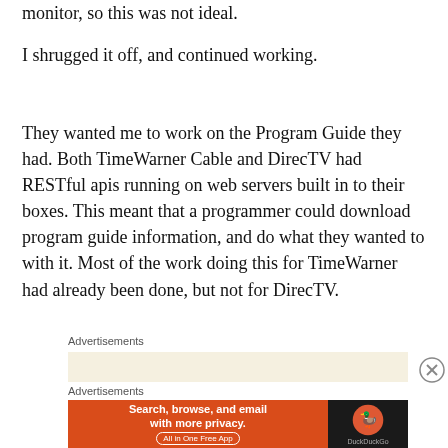monitor, so this was not ideal.
I shrugged it off, and continued working.
They wanted me to work on the Program Guide they had. Both TimeWarner Cable and DirecTV had RESTful apis running on web servers built in to their boxes. This meant that a programmer could download program guide information, and do what they wanted to with it. Most of the work doing this for TimeWarner had already been done, but not for DirecTV.
Advertisements
[Figure (screenshot): DuckDuckGo advertisement banner with orange background on left reading 'Search, browse, and email with more privacy. All in One Free App' and dark background on right with DuckDuckGo logo.]
Advertisements